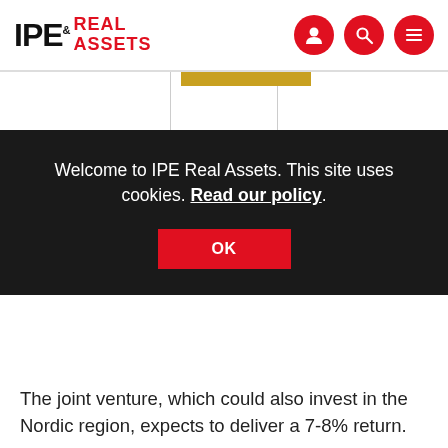IPE Real Assets
Welcome to IPE Real Assets. This site uses cookies. Read our policy.
OK
The joint venture, which could also invest in the Nordic region, expects to deliver a 7-8% return.